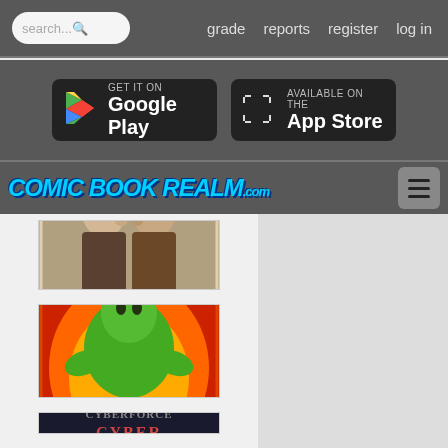search... grade reports register log in
[Figure (screenshot): Google Play and App Store download buttons on dark gray background]
[Figure (logo): Comic Book Realm .com logo with hamburger menu button]
[Figure (illustration): Comic book cover showing two figures facing each other]
[Figure (illustration): Hulk comic book cover with fiery explosion background]
[Figure (illustration): Cyber Corps comic book cover, partially visible]